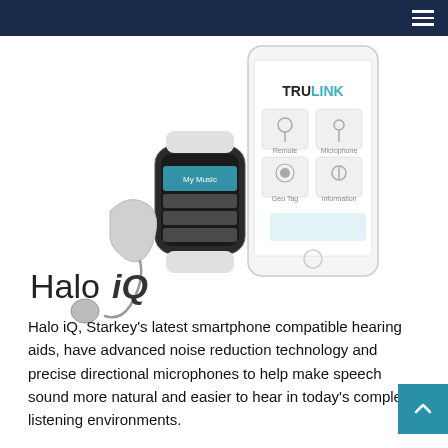[Figure (photo): Product photo of Halo iQ hearing aid, Apple Watch, and smartphone showing the TruLink app interface]
Halo iQ, Starkey’s latest smartphone compatible hearing aids, have advanced noise reduction technology and precise directional microphones to help make speech sound more natural and easier to hear in today’s complex listening environments.